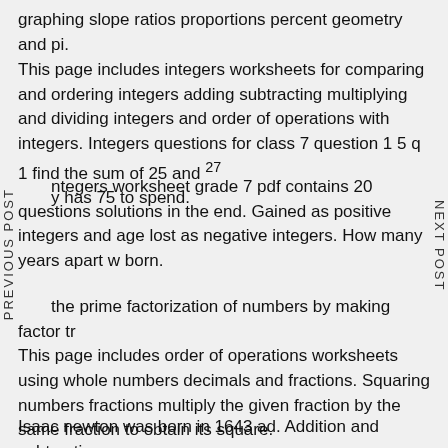graphing slope ratios proportions percent geometry and pi.
This page includes integers worksheets for comparing and ordering integers adding subtracting multiplying and dividing integers and order of operations with integers. Integers questions for class 7 question 1 5 q 1 find the sum of 25 and 27 y has 75 to spend.
integers worksheet grade 7 pdf contains 20 questions solutions in the end. Gained as positive integers and age lost as negative integers. How many years apart w born.
the prime factorization of numbers by making factor tr This page includes order of operations worksheets using whole numbers decimals and fractions. Squaring numbers fractions multiply the given fraction by the same fraction to obtain its square.
Isaac newton was born in 1643 ad. Addition and subtraction